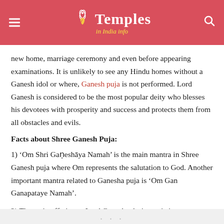Temples in India info
new home, marriage ceremony and even before appearing examinations. It is unlikely to see any Hindu homes without a Ganesh idol or where, Ganesh puja is not performed. Lord Ganesh is considered to be the most popular deity who blesses his devotees with prosperity and success and protects them from all obstacles and evils.
Facts about Shree Ganesh Puja:
1) ‘Om Shri Gaṇeshāya Namah’ is the main mantra in Shree Ganesh puja where Om represents the salutation to God. Another important mantra related to Ganesha puja is ‘Om Gan Ganapataye Namah’.
2) The main offering to Lord Ganesha during puja is
...